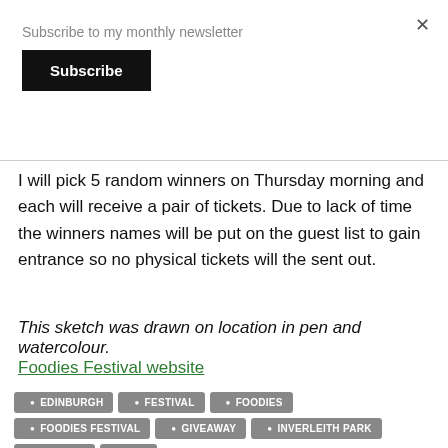Subscribe to my monthly newsletter
Subscribe
I will pick 5 random winners on Thursday morning and each will receive a pair of tickets. Due to lack of time the winners names will be put on the guest list to gain entrance so no physical tickets will the sent out.
This sketch was drawn on location in pen and watercolour.
Foodies Festival website
EDINBURGH
FESTIVAL
FOODIES
FOODIES FESTIVAL
GIVEAWAY
INVERLEITH PARK
TICKETS
WIN